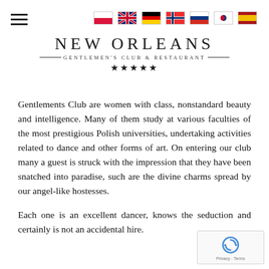≡ [hamburger menu] | flags: Polish, English, German, Norwegian, Russian, Korean, Spanish
NEW ORLEANS — GENTLEMEN'S CLUB & RESTAURANT — ★★★★★
Gentlements Club are women with class, nonstandard beauty and intelligence. Many of them study at various faculties of the most prestigious Polish universities, undertaking activities related to dance and other forms of art. On entering our club many a guest is struck with the impression that they have been snatched into paradise, such are the divine charms spread by our angel-like hostesses.
Each one is an excellent dancer, knows the seduction and certainly is not an accidental hire.